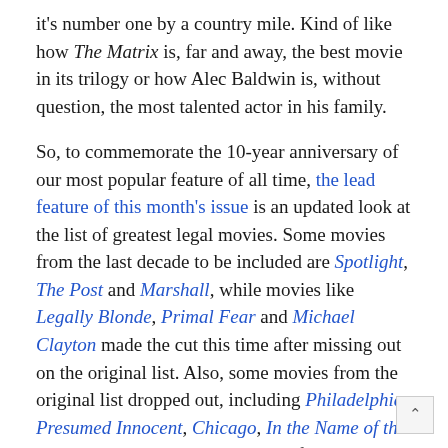it's number one by a country mile. Kind of like how The Matrix is, far and away, the best movie in its trilogy or how Alec Baldwin is, without question, the most talented actor in his family.
So, to commemorate the 10-year anniversary of our most popular feature of all time, the lead feature of this month's issue is an updated look at the list of greatest legal movies. Some movies from the last decade to be included are Spotlight, The Post and Marshall, while movies like Legally Blonde, Primal Fear and Michael Clayton made the cut this time after missing out on the original list. Also, some movies from the original list dropped out, including Philadelphia, Presumed Innocent, Chicago, In the Name of the Father, and the Al Pacino tour-de-force And Justice for All.